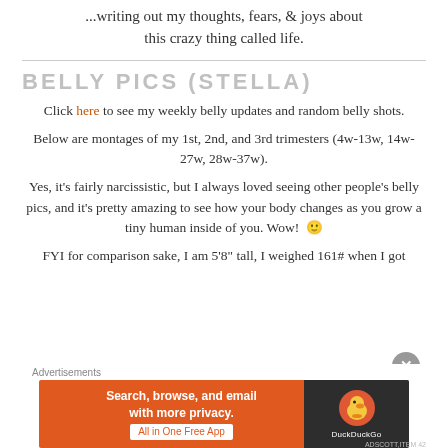...writing out my thoughts, fears, & joys about this crazy thing called life.
BELLY PICS (STELLA)
Click here to see my weekly belly updates and random belly shots.
Below are montages of my 1st, 2nd, and 3rd trimesters (4w-13w, 14w-27w, 28w-37w).
Yes, it's fairly narcissistic, but I always loved seeing other people's belly pics, and it's pretty amazing to see how your body changes as you grow a tiny human inside of you. Wow! 🙂
FYI for comparison sake, I am 5'8" tall, I weighed 161# when I got
[Figure (screenshot): DuckDuckGo advertisement banner with orange background, text 'Search, browse, and email with more privacy. All in One Free App' and DuckDuckGo logo on dark right side.]
Advertisements